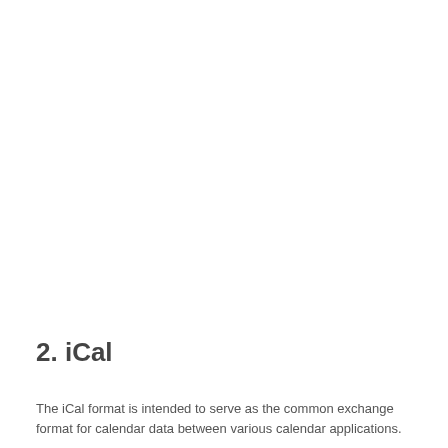2. iCal
The iCal format is intended to serve as the common exchange format for calendar data between various calendar applications.